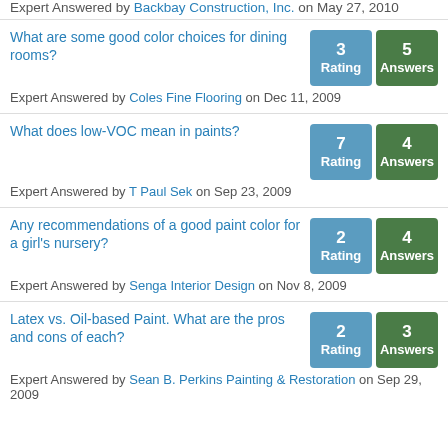Expert Answered by Backbay Construction, Inc. on May 27, 2010
What are some good color choices for dining rooms? | Rating: 3 | Answers: 5 | Expert Answered by Coles Fine Flooring on Dec 11, 2009
What does low-VOC mean in paints? | Rating: 7 | Answers: 4 | Expert Answered by T Paul Sek on Sep 23, 2009
Any recommendations of a good paint color for a girl's nursery? | Rating: 2 | Answers: 4 | Expert Answered by Senga Interior Design on Nov 8, 2009
Latex vs. Oil-based Paint. What are the pros and cons of each? | Rating: 2 | Answers: 3 | Expert Answered by Sean B. Perkins Painting & Restoration on Sep 29, 2009